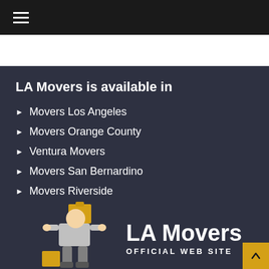≡ (hamburger menu)
LA Movers is available in
Movers Los Angeles
Movers Orange County
Ventura Movers
Movers San Bernardino
Movers Riverside
[Figure (logo): LA Movers official website logo with a mover character illustration and text 'LA Movers OFFICIAL WEB SITE']